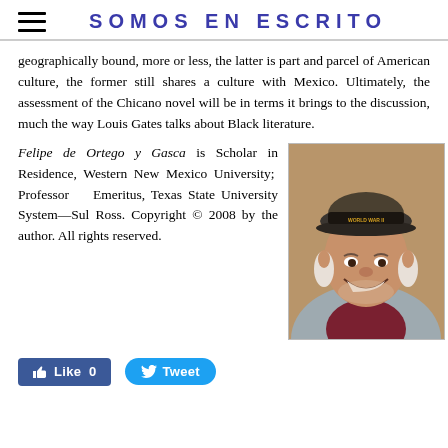SOMOS EN ESCRITO
geographically bound, more or less, the latter is part and parcel of American culture, the former still shares a culture with Mexico. Ultimately, the assessment of the Chicano novel will be in terms it brings to the discussion, much the way Louis Gates talks about Black literature.
Felipe de Ortego y Gasca is Scholar in Residence, Western New Mexico University; Professor Emeritus, Texas State University System—Sul Ross. Copyright © 2008 by the author. All rights reserved.
[Figure (photo): Portrait photo of Felipe de Ortego y Gasca, an elderly man wearing a WWII veteran cap, smiling broadly, dressed in a grey jacket and dark red shirt.]